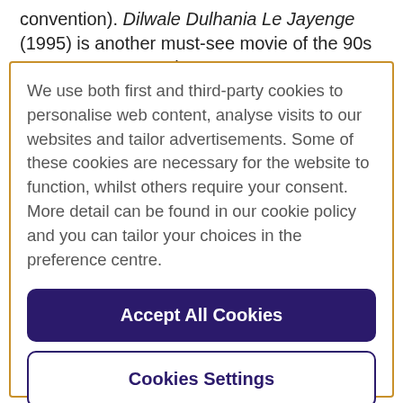convention). Dilwale Dulhania Le Jayenge (1995) is another must-see movie of the 90s romance genre, as it
We use both first and third-party cookies to personalise web content, analyse visits to our websites and tailor advertisements. Some of these cookies are necessary for the website to function, whilst others require your consent. More detail can be found in our cookie policy and you can tailor your choices in the preference centre.
Accept All Cookies
Cookies Settings